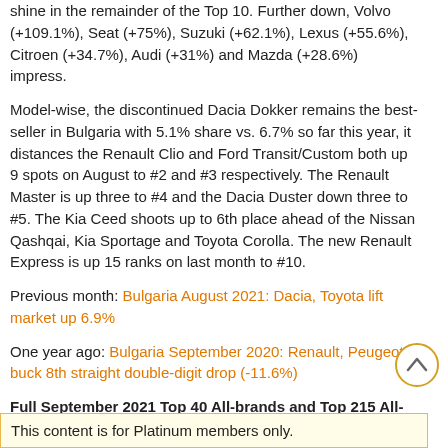shine in the remainder of the Top 10. Further down, Volvo (+109.1%), Seat (+75%), Suzuki (+62.1%), Lexus (+55.6%), Citroen (+34.7%), Audi (+31%) and Mazda (+28.6%) impress.
Model-wise, the discontinued Dacia Dokker remains the best-seller in Bulgaria with 5.1% share vs. 6.7% so far this year, it distances the Renault Clio and Ford Transit/Custom both up 9 spots on August to #2 and #3 respectively. The Renault Master is up three to #4 and the Dacia Duster down three to #5. The Kia Ceed shoots up to 6th place ahead of the Nissan Qashqai, Kia Sportage and Toyota Corolla. The new Renault Express is up 15 ranks on last month to #10.
Previous month: Bulgaria August 2021: Dacia, Toyota lift market up 6.9%
One year ago: Bulgaria September 2020: Renault, Peugeot buck 8th straight double-digit drop (-11.6%)
Full September 2021 Top 40 All-brands and Top 215 All-models below.
This content is for Platinum members only.